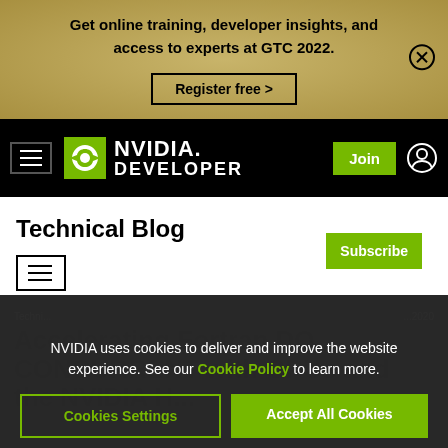[Figure (screenshot): NVIDIA Developer website screenshot showing a GTC 2022 banner, NVIDIA Developer navigation bar, Technical Blog heading with Subscribe button, hamburger menu, and a cookie consent overlay over a dark article section about Accelerating Fortran DO CONCURRENT with GPUs and NVIDIA HPC.]
Get online training, developer insights, and access to experts at GTC 2022.
Register free >
NVIDIA DEVELOPER
Technical Blog
Subscribe
NVIDIA uses cookies to deliver and improve the website experience. See our Cookie Policy to learn more.
Cookies Settings
Accept All Cookies
Accelerating Fortran DO CONCURRENT with GPUs and the NVIDIA HPC